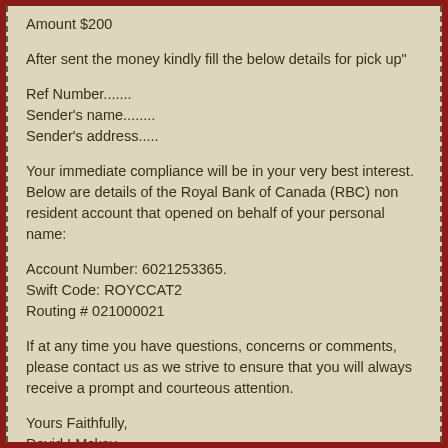Amount $200
After sent the money kindly fill the below details for pick up"
Ref Number.......
Sender’s name........
Sender’s address.....
Your immediate compliance will be in your very best interest. Below are details of the Royal Bank of Canada (RBC) non resident account that opened on behalf of your personal name:
Account Number: 6021253365.
Swift Code: ROYCCAT2
Routing # 021000021
If at any time you have questions, concerns or comments, please contact us as we strive to ensure that you will always receive a prompt and courteous attention.
Yours Faithfully,
David I Mckay
The President and CEO.
Royal Bank Of Canada (RBC).
Head Office Location Address: 200 Bay Street,